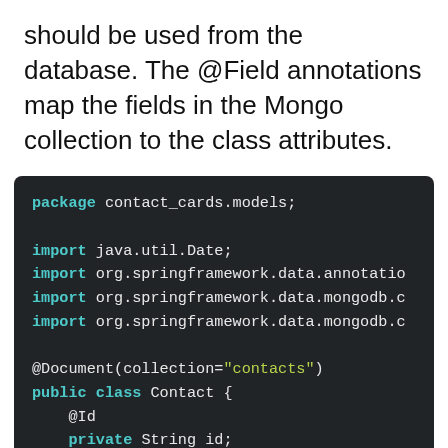should be used from the database. The @Field annotations map the fields in the Mongo collection to the class attributes.
package contact_cards.models;

import java.util.Date;
import org.springframework.data.annotatio
import org.springframework.data.mongodb.c
import org.springframework.data.mongodb.c

@Document(collection="contacts")
public class Contact {
    @Id
    private String id;

    @Field(value="first_name")
    private String firstName;